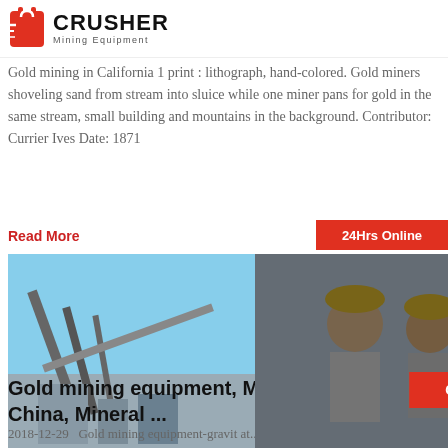[Figure (logo): Crusher Mining Equipment logo with red shopping bag icon and bold CRUSHER text]
Gold mining in California 1 print : lithograph, hand-colored. Gold miners shoveling sand from stream into sluice while one miner pans for gold in the same stream, small building and mountains in the background. Contributor: Currier Ives Date: 1871
Read More
[Figure (photo): Mining equipment/industrial crane structure against blue sky]
[Figure (infographic): Live chat popup overlay showing workers in hard hats, LIVE CHAT heading, Click for a Free Consultation, Chat now and Chat later buttons]
[Figure (photo): Customer service representative with headset, 24Hrs Online badge, Need questions & suggestion panel with Chat Now button, Enquiry section, limingjlmofen@sina.com email]
Gold mining equipment, Mining eq... China, Mineral ...
2018-12-29  Gold mining equipment-gravit at... equipment, Mining Equipment China, Gravity M... Equipment, Mineral Processing, Mining machine... Gandong Mining Equipment Machinery.